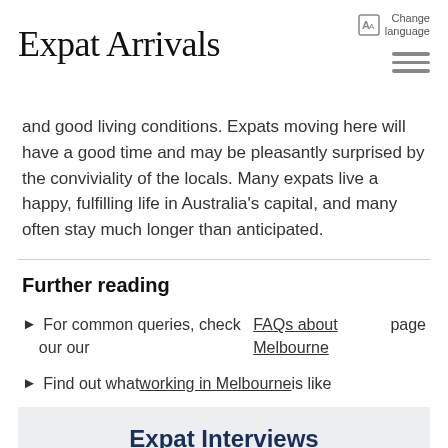Expat Arrivals — Change language
and good living conditions. Expats moving here will have a good time and may be pleasantly surprised by the conviviality of the locals. Many expats live a happy, fulfilling life in Australia's capital, and many often stay much longer than anticipated.
Further reading
For common queries, check our our FAQs about Melbourne page
Find out what working in Melbourne is like
Expat Interviews